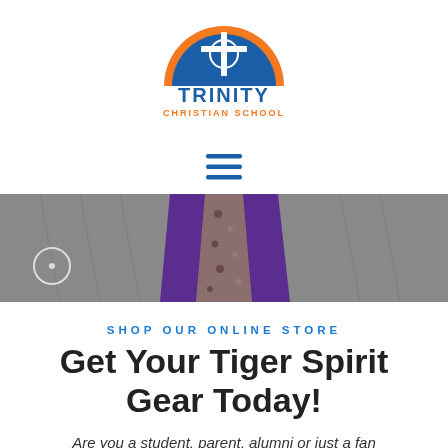[Figure (logo): Trinity Christian School logo: semicircle with blue and orange sections, white cross in center, blue text 'TRINITY' and orange text 'CHRISTIAN SCHOOL' below]
[Figure (other): Hamburger menu icon with three blue horizontal lines]
[Figure (photo): Close-up photo of a gray suit jacket with purple shirt and floral tie]
SHOP OUR ONLINE STORE
Get Your Tiger Spirit Gear Today!
Are you a student, parent, alumni or just a fan